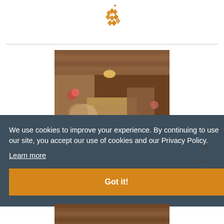[Figure (logo): Orange/amber colored geometric logo made of diamond/rhombus shapes arranged in a cluster pattern, resembling a hospitality or hotel brand logo]
[Figure (photo): Luxury wooden hotel room interior with warm wood ceiling, pendant light, wicker chairs, a wooden bed with floral arrangement, and hardwood floors]
We use cookies to improve your experience. By continuing to use our site, you accept our use of cookies and our Privacy Policy.
Learn more
Got it!
[Figure (photo): Partial view of another hotel room interior photo at the bottom of the page]